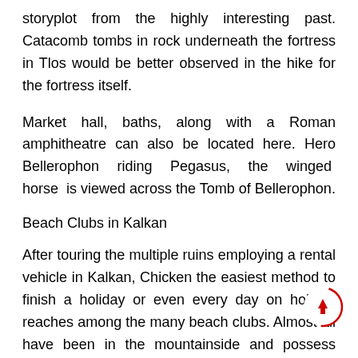storyplot from the highly interesting past. Catacomb tombs in rock underneath the fortress in Tlos would be better observed in the hike for the fortress itself.
Market hall, baths, along with a Roman amphitheatre can also be located here. Hero Bellerophon riding Pegasus, the winged horse is viewed across the Tomb of Bellerophon.
Beach Clubs in Kalkan
After touring the multiple ruins employing a rental vehicle in Kalkan, Chicken the easiest method to finish a holiday or even every day on holiday reaches among the many beach clubs. Almost all have been in the mountainside and possess umbrellas where vacationers can lounge in the